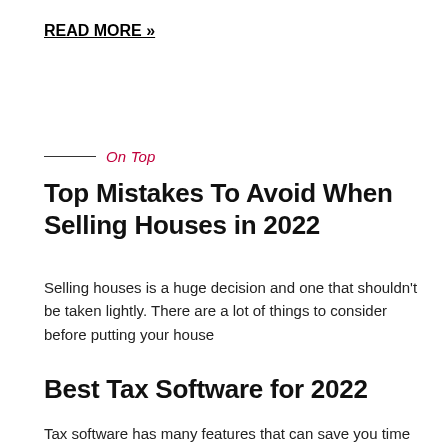READ MORE »
On Top
Top Mistakes To Avoid When Selling Houses in 2022
Selling houses is a huge decision and one that shouldn't be taken lightly. There are a lot of things to consider before putting your house
Best Tax Software for 2022
Tax software has many features that can save you time and money. Do not just go with the best-known software